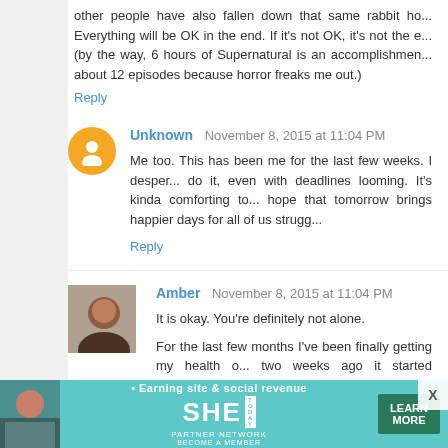other people have also fallen down that same rabbit ho... Everything will be OK in the end. If it's not OK, it's not the e... (by the way, 6 hours of Supernatural is an accomplishmen... about 12 episodes because horror freaks me out.)
Reply
Unknown  November 8, 2015 at 11:04 PM
Me too. This has been me for the last few weeks. I desper... do it, even with deadlines looming. It's kinda comforting to... hope that tomorrow brings happier days for all of us strugg...
Reply
Amber  November 8, 2015 at 11:04 PM
It is okay. You're definitely not alone.
For the last few months I've been finally getting my health o... two weeks ago it started unraveling on me. I pushed m... shameless plug for new cloud app). So my chronic pain ha... absolute necessities. I'm kicking myself because I know I s... to do a bunch of stuff, and I haven't done anything... (http://imgur.com/UUOwwEJ).
[Figure (infographic): Advertisement banner for SHE Media Partner Network with teal background. Shows a woman photo, bullet point 'Earning site & social revenue', SHE logo, PARTNER NETWORK, BECOME A MEMBER text, and a LEARN MORE button.]